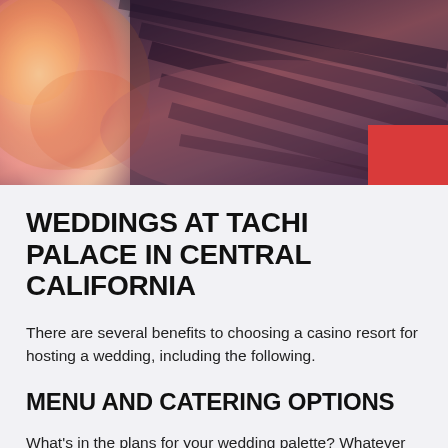[Figure (photo): Dark moody close-up photo of draped dark fabric/clothing with blurred floral elements on the left side in warm orange-red tones, and a red rectangle overlay in the lower right corner.]
WEDDINGS AT TACHI PALACE IN CENTRAL CALIFORNIA
There are several benefits to choosing a casino resort for hosting a wedding, including the following.
MENU AND CATERING OPTIONS
What's in the plans for your wedding palette? Whatever you and your guests prefer, our California wedding catering and hosting